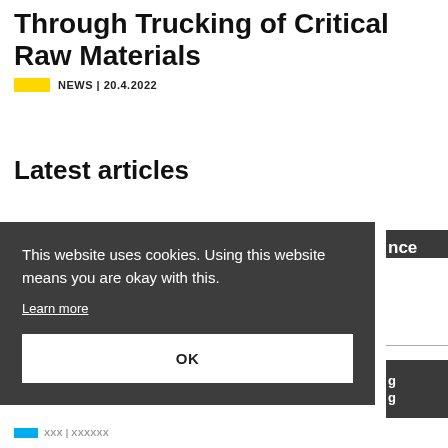Through Trucking of Critical Raw Materials
NEWS | 20.4.2022
Latest articles
This website uses cookies. Using this website means you are okay with this.
Learn more
OK